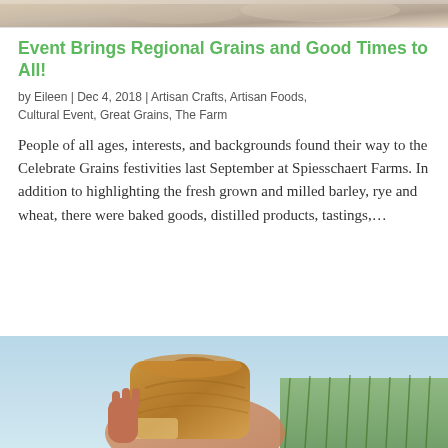[Figure (photo): Partial top image, appears to be a close-up of food or baked good, cropped at top of page]
Event Brings Regional Grains and Good Times to All!
by Eileen | Dec 4, 2018 | Artisan Crafts, Artisan Foods, Cultural Event, Great Grains, The Farm
People of all ages, interests, and backgrounds found their way to the Celebrate Grains festivities last September at Spiesschaert Farms. In addition to highlighting the fresh grown and milled barley, rye and wheat, there were baked goods, distilled products, tastings,...
[Figure (photo): Photo of a man with long hair holding up a large loaf of bread, with green crops visible in the background and a light blue sky]